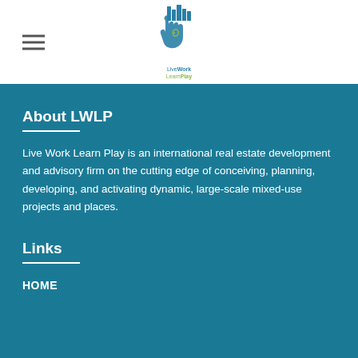[Figure (logo): LiveWork LearnPlay logo: a hand with a spiral and buildings silhouette above, with text 'Live Work Learn Play' in teal and olive colors]
About LWLP
Live Work Learn Play is an international real estate development and advisory firm on the cutting edge of conceiving, planning, developing, and activating dynamic, large-scale mixed-use projects and places.
Links
HOME